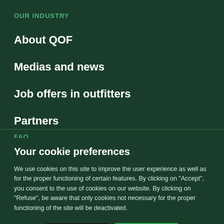OUR INDUSTRY
About QOF
Medias and news
Job offers in outfitters
Partners
FAQ
Your cookie preferences
We use cookies on this site to improve the user experience as well as for the proper functioning of certain features. By clicking on “Accept”, you consent to the use of cookies on our website. By clicking on “Refuse”, be aware that only cookies not necessary for the proper functioning of the site will be deactivated.
Refuse | Accept